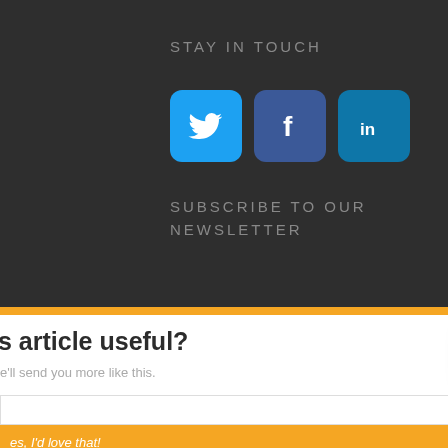STAY IN TOUCH
[Figure (screenshot): Three social media icon buttons: Twitter (light blue), Facebook (dark blue), LinkedIn (teal blue)]
SUBSCRIBE TO OUR NEWSLETTER
[Figure (screenshot): Website UI screenshot showing newsletter subscription area with 'Was this article useful?' heading, text input field, and orange subscribe button. Overlaid with a chat popup saying 'Got any questions? I'm happy to help.' with a profile avatar. Bottom shows Facebook and Twitter icons and a pink chat bubble button.]